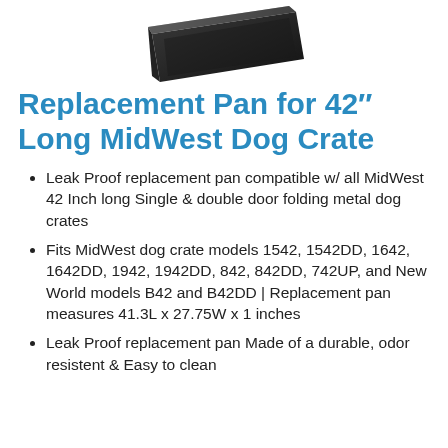[Figure (photo): Product photo of a black replacement pan for a dog crate, shown at an angle against a white background]
Replacement Pan for 42″ Long MidWest Dog Crate
Leak Proof replacement pan compatible w/ all MidWest 42 Inch long Single & double door folding metal dog crates
Fits MidWest dog crate models 1542, 1542DD, 1642, 1642DD, 1942, 1942DD, 842, 842DD, 742UP, and New World models B42 and B42DD | Replacement pan measures 41.3L x 27.75W x 1 inches
Leak Proof replacement pan Made of a durable, odor resistent & Easy to clean